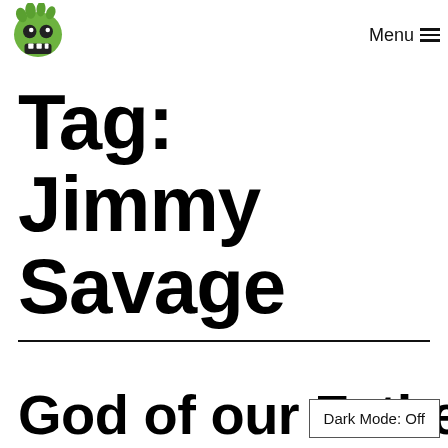Menu ≡
Tag: Jimmy Savage
God of our Fathers
Dark Mode: Off